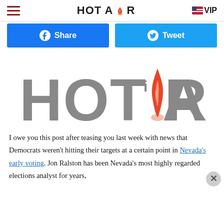HOT AIR | VIP
[Figure (other): Facebook Share button and Twitter Tweet button side by side]
[Figure (logo): Hot Air logo large gray text with flame icon]
I owe you this post after teasing you last week with news that Democrats weren’t hitting their targets at a certain point in Nevada’s early voting. Jon Ralston has been Nevada’s most highly regarded elections analyst for years,